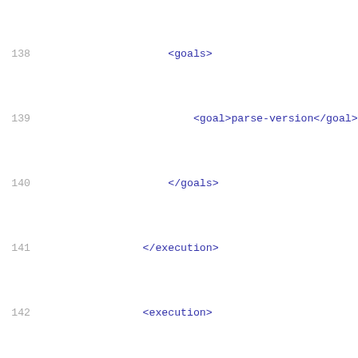Code listing lines 138-159, XML configuration snippet
138    <goals>
139        <goal>parse-version</goal>
140    </goals>
141    </execution>
142    <execution>
143        <id>regex-property</id>
144        <goals>
145            <goal>regex-property</goal>
146        </goals>
147        <configuration>
148            <name>ambariVersion</name>
149            <value>${project.version}</value>
150            <regex>^([0-9]+)\.([0-9]+)\.([0-9]
151            <replacement>$1.$2.$3.$4</replacem
152            <failIfNoMatch>false</failIfNoMatc
153        </configuration>
154    </execution>
155    <execution>
156        <id>parse-package-version</id>
157        <goals>
158            <goal>regex-property</goal>
159        </goals>